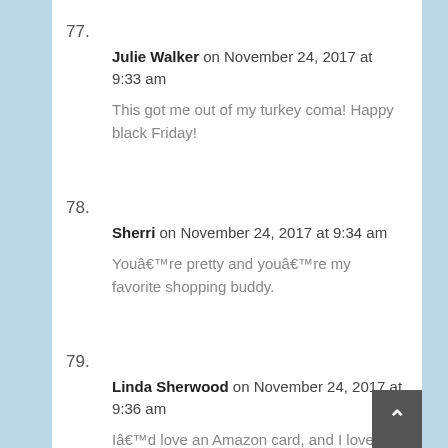77.
Julie Walker on November 24, 2017 at 9:33 am
This got me out of my turkey coma! Happy black Friday!
78.
Sherri on November 24, 2017 at 9:34 am
Youâ€™re pretty and youâ€™re my favorite shopping buddy.
79.
Linda Sherwood on November 24, 2017 at 9:36 am
Iâ€™d love an Amazon card, and I love the